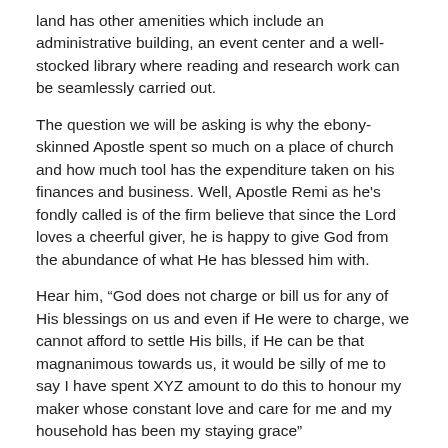land has other amenities which include an administrative building, an event center and a well-stocked library where reading and research work can be seamlessly carried out.
The question we will be asking is why the ebony-skinned Apostle spent so much on a place of church and how much tool has the expenditure taken on his finances and business. Well, Apostle Remi as he's fondly called is of the firm believe that since the Lord loves a cheerful giver, he is happy to give God from the abundance of what He has blessed him with.
Hear him, “God does not charge or bill us for any of His blessings on us and even if He were to charge, we cannot afford to settle His bills, if He can be that magnanimous towards us, it would be silly of me to say I have spent XYZ amount to do this to honour my maker whose constant love and care for me and my household has been my staying grace”
As you can see, the new cathedral is a masterpiece of architectural design and second to none in the any Cherubim and Seraphim church in the country. And as long as I have breadth in me I will never stop giving back to the cause of God and the gospel of Christ. The multimillion worship arena is billed for dedication on Saturday January 14, 2017 by the Baba Aladura himself, His Grace